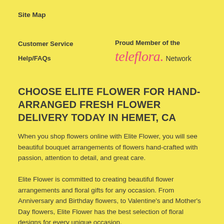Site Map
Customer Service
Help/FAQs
Proud Member of the teleflora. Network
CHOOSE ELITE FLOWER FOR HAND-ARRANGED FRESH FLOWER DELIVERY TODAY IN HEMET, CA
When you shop flowers online with Elite Flower, you will see beautiful bouquet arrangements of flowers hand-crafted with passion, attention to detail, and great care.
Elite Flower is committed to creating beautiful flower arrangements and floral gifts for any occasion. From Anniversary and Birthday flowers, to Valentine’s and Mother’s Day flowers, Elite Flower has the best selection of floral designs for every unique occasion.